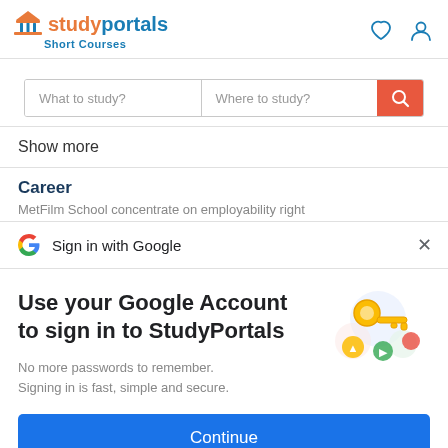[Figure (logo): StudyPortals Short Courses logo with building icon, orange and blue text]
What to study?
Where to study?
Show more
Career
MetFilm School concentrate on employability right
Sign in with Google
Use your Google Account to sign in to StudyPortals
No more passwords to remember. Signing in is fast, simple and secure.
[Figure (illustration): Google key illustration with colorful circles]
Continue